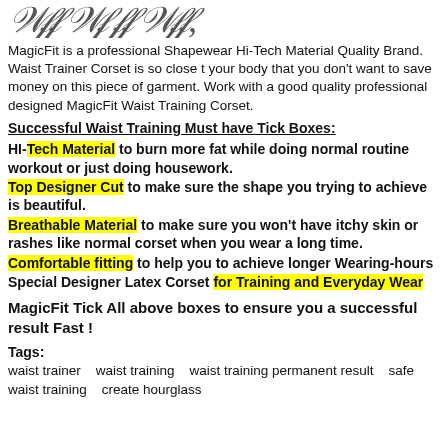[Figure (illustration): Stylized feather/plant illustration at the top of the page]
MagicFit is a professional Shapewear Hi-Tech Material Quality Brand. Waist Trainer Corset is so close t your body that you don't want to save money on this piece of garment. Work with a good quality professional designed MagicFit Waist Training Corset.
Successful Waist Training Must have Tick Boxes:
HI-Tech Material to burn more fat while doing normal routine workout or just doing housework.
Top Designer Cut to make sure the shape you trying to achieve is beautiful.
Breathable Material to make sure you won't have itchy skin or rashes like normal corset when you wear a long time.
Comfortable fitting to help you to achieve longer Wearing-hours
Special Designer Latex Corset for Training and Everyday Wear
MagicFit Tick All above boxes to ensure you a successful result Fast !
Tags:
waist trainer   waist training   waist training permanent result   safe waist training   create hourglass